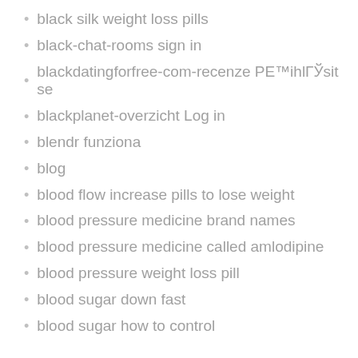black silk weight loss pills
black-chat-rooms sign in
blackdatingforfree-com-recenze PЕ™ihlГЎsit se
blackplanet-overzicht Log in
blendr funziona
blog
blood flow increase pills to lose weight
blood pressure medicine brand names
blood pressure medicine called amlodipine
blood pressure weight loss pill
blood sugar down fast
blood sugar how to control